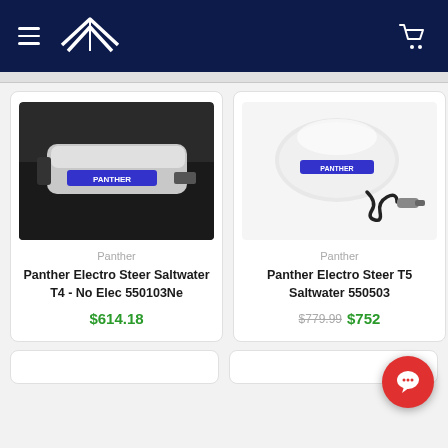Navigation header with hamburger menu, boat logo, and cart icon
[Figure (photo): Panther Electro Steer Saltwater T4 - No Elec 550103Ne product photo: dark/black electronic steering device with silver top and Panther logo]
Panther
Panther Electro Steer Saltwater T4 - No Elec 550103Ne
$614.18
[Figure (photo): Panther Electro Steer T5 Saltwater 550503 product photo: white/light gray paddle-shaped device with Panther label and black coiled cable with metal connector]
Panther
Panther Electro Steer T5 Saltwater 550503
$779.99 $752...